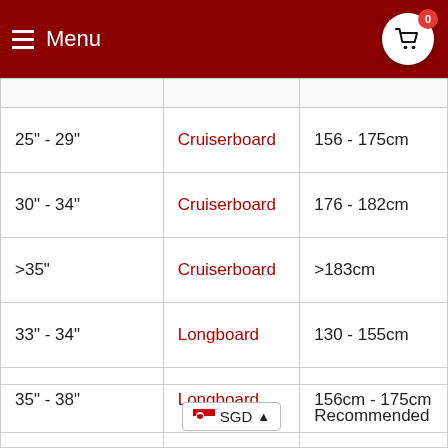Menu
|  |  |  |
| --- | --- | --- |
|  |  |  |
| 25" - 29" | Cruiserboard | 156 - 175cm |
| 30" - 34" | Cruiserboard | 176 - 182cm |
| >35" | Cruiserboard | >183cm |
| 33" - 34" | Longboard | 130 - 155cm |
| 35" - 38" | Longboard | 156cm - 175cm |
| >39" | Longboard | >176cm |
|  | SGD | Recommended |
| --- | --- | --- |
|  | SGD | Recommended |